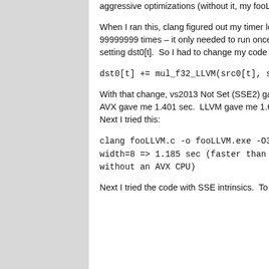aggressive optimizations (without it, my fooLLVM.exe was very slow!)
When I ran this, clang figured out my timer loop did not need to run 99999999 times – it only needed to run once since the inner loop was setting dst0[t].  So I had to change my code to do this:
dst0[t] += mul_f32_LLVM(src0[t], src1[t]);
With that change, vs2013 Not Set (SSE2) gave me 1.493 sec, and vs2013 AVX gave me 1.401 sec.  LLVM gave me 1.617 sec (slower than vs2013).  Next I tried this:
clang fooLLVM.c -o fooLLVM.exe -O3 -mllvm -force-vector-width=8 => 1.185 sec (faster than vs2013) (also runs fine without an AVX CPU)
Next I tried the code with SSE intrinsics.  To make the comparison fair,